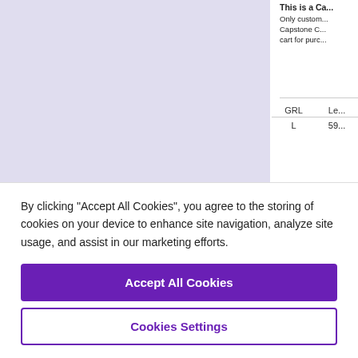[Figure (illustration): Large light purple/lavender rectangle representing a book cover placeholder on the left side of the page]
This is a Ca...
Only custom...
Capstone C...
cart for purc...
| GRL | Le... |
| --- | --- |
| L | 59... |
[Figure (illustration): Small book thumbnail showing colorful illustrated cover with text 'Perro...' and people/animals]
If You W...
by Nancy Le...
This is a Ca...
By clicking “Accept All Cookies”, you agree to the storing of cookies on your device to enhance site navigation, analyze site usage, and assist in our marketing efforts.
Accept All Cookies
Cookies Settings